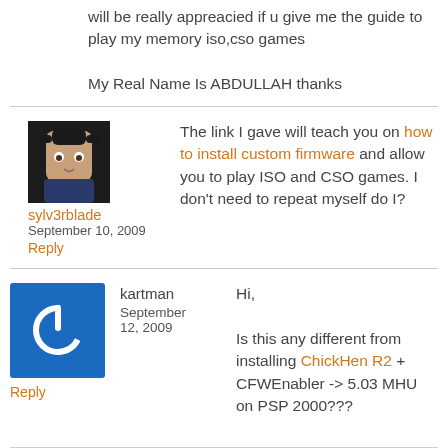will be really appreacied if u give me the guide to play my memory iso,cso games

My Real Name Is ABDULLAH thanks
sylv3rblade
September 10, 2009
Reply

The link I gave will teach you on how to install custom firmware and allow you to play ISO and CSO games. I don't need to repeat myself do I?
kartman
September 12, 2009
Reply

Hi,

Is this any different from installing ChickHen R2 + CFWEnabler -> 5.03 MHU on PSP 2000???